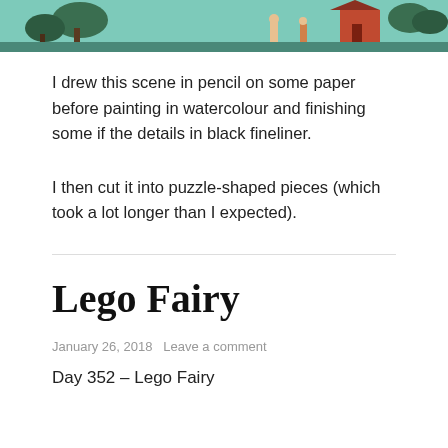[Figure (illustration): Partial watercolour painting strip showing a nature/fairy scene with teal/green background, trees, and illustrated characters]
I drew this scene in pencil on some paper before painting in watercolour and finishing some if the details in black fineliner.
I then cut it into puzzle-shaped pieces (which took a lot longer than I expected).
Lego Fairy
January 26, 2018   Leave a comment
Day 352 – Lego Fairy